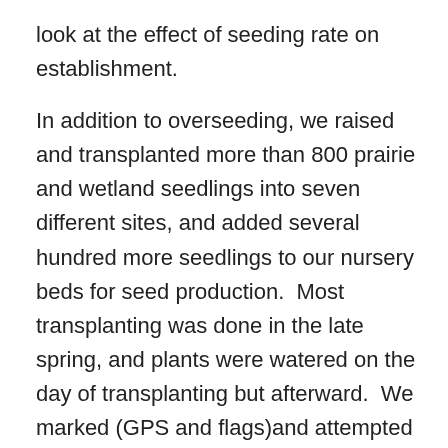look at the effect of seeding rate on establishment.
In addition to overseeding, we raised and transplanted more than 800 prairie and wetland seedlings into seven different sites, and added several hundred more seedlings to our nursery beds for seed production.  Most transplanting was done in the late spring, and plants were watered on the day of transplanting but afterward.  We marked (GPS and flags)and attempted to re-locate seedling plugs to evaluate survival, but that didn't work out very well, and we didn't find a lot of the plants we'd plugged in.  Some of those plants surely died (which prevented us from finding them), but for others, flags disappeared and GPS points weren't accurate enough to lead us to the small plants we thought were probably there.  We did find some, but our estimates of success are